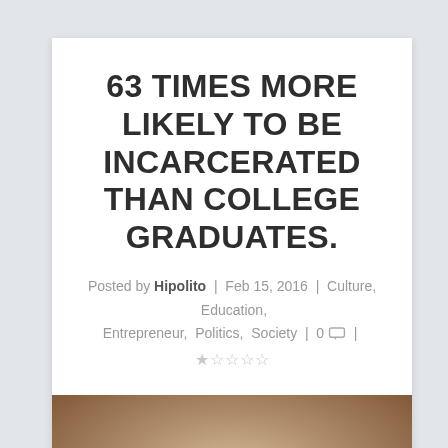63 TIMES MORE LIKELY TO BE INCARCERATED THAN COLLEGE GRADUATES.
Posted by Hipolito | Feb 15, 2016 | Culture, Education, Entrepreneur, Politics, Society | 0 💬 | ★☆☆☆☆
[Figure (photo): A man smiling with two children, appearing to look at something together]